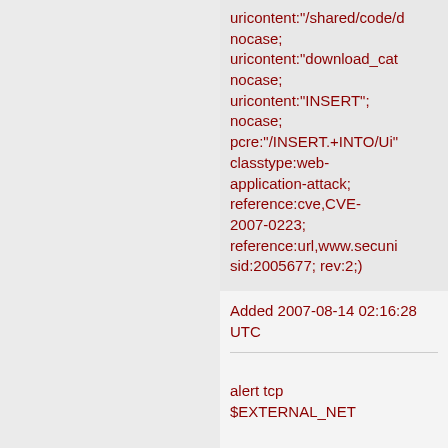uricontent:"/shared/code/d... nocase; uricontent:"download_cat... nocase; uricontent:"INSERT"; nocase; pcre:"/INSERT.+INTO/Ui" classtype:web-application-attack; reference:cve,CVE-2007-0223; reference:url,www.secuni... sid:2005677; rev:2;)
Added 2007-08-14 02:16:28 UTC
alert tcp $EXTERNAL_NET